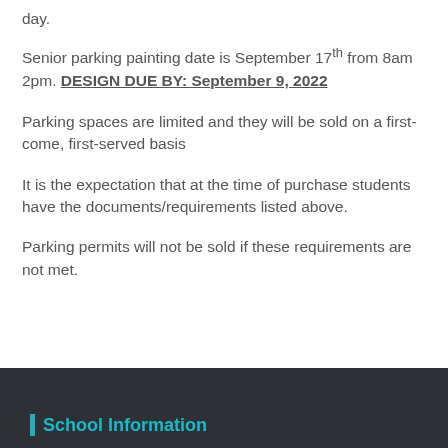day.
Senior parking painting date is September 17th from 8am 2pm. DESIGN DUE BY: September 9, 2022
Parking spaces are limited and they will be sold on a first-come, first-served basis
It is the expectation that at the time of purchase students have the documents/requirements listed above.
Parking permits will not be sold if these requirements are not met.
School Information